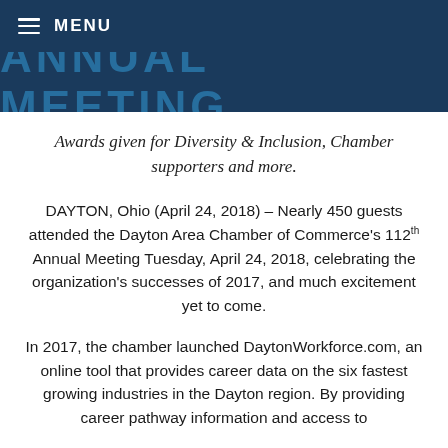MENU
ANNUAL MEETING
Awards given for Diversity & Inclusion, Chamber supporters and more.
DAYTON, Ohio (April 24, 2018) – Nearly 450 guests attended the Dayton Area Chamber of Commerce's 112th Annual Meeting Tuesday, April 24, 2018, celebrating the organization's successes of 2017, and much excitement yet to come.
In 2017, the chamber launched DaytonWorkforce.com, an online tool that provides career data on the six fastest growing industries in the Dayton region. By providing career pathway information and access to